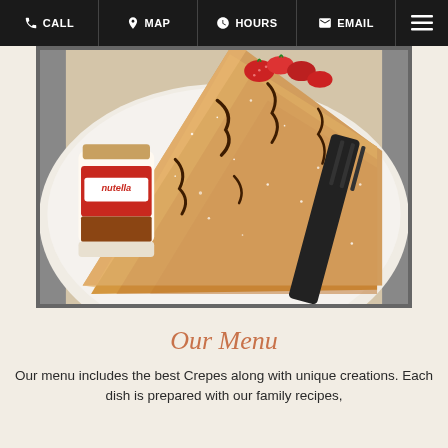CALL | MAP | HOURS | EMAIL
[Figure (photo): Close-up photo of a folded crepe on a white plate, dusted with powdered sugar, drizzled with chocolate sauce, topped with strawberries. A Nutella jar is visible on the left side. A dark fork is placed beside the crepe.]
Our Menu
Our menu includes the best Crepes along with unique creations. Each dish is prepared with our family recipes,